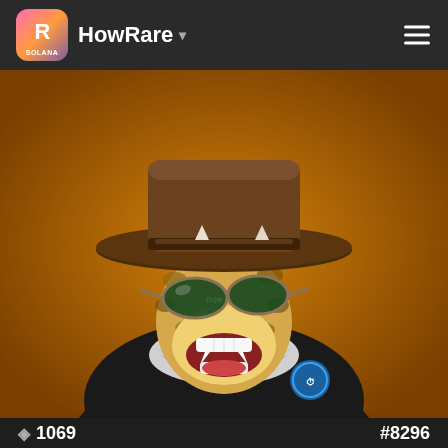HowRare
[Figure (illustration): 3D rendered NFT character: anthropomorphic leopard/bear wearing a brown wide-brim fedora hat, green aviator sunglasses, black sweatshirt with a blue badge logo, and a polo collar with blue and purple stripes. The character has a large open mouth showing white teeth and fangs, with a glowing teal/purple gem at the neckline. Orange textured background.]
1069
#8296